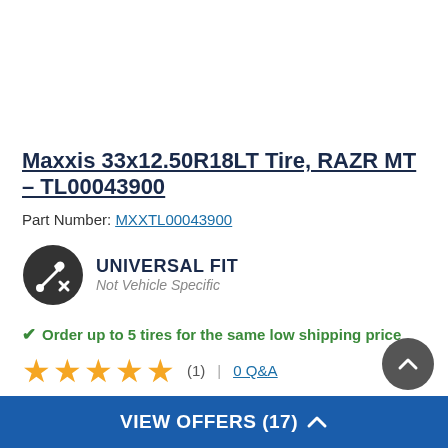Maxxis 33x12.50R18LT Tire, RAZR MT - TL00043900
Part Number: MXXTL00043900
[Figure (logo): Universal Fit badge icon with wrench and X tool symbol in dark circle, followed by text UNIVERSAL FIT Not Vehicle Specific]
Order up to 5 tires for the same low shipping price
★★★★★ (1) | 0 Q&A
$625.12
VIEW OFFERS (17)